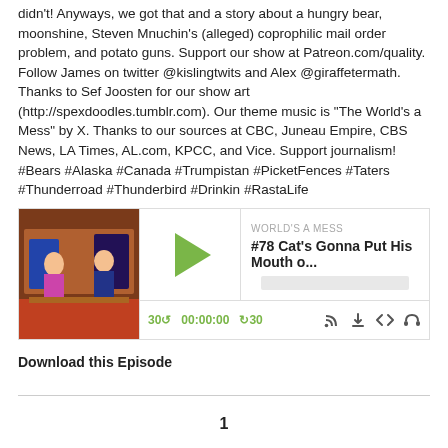didn't! Anyways, we got that and a story about a hungry bear, moonshine, Steven Mnuchin's (alleged) coprophilic mail order problem, and potato guns. Support our show at Patreon.com/quality. Follow James on twitter @kislingtwits and Alex @giraffetermath. Thanks to Sef Joosten for our show art (http://spexdoodles.tumblr.com). Our theme music is "The World's a Mess" by X. Thanks to our sources at CBC, Juneau Empire, CBS News, LA Times, AL.com, KPCC, and Vice. Support journalism! #Bears #Alaska #Canada #Trumpistan #PicketFences #Taters #Thunderroad #Thunderbird #Drinkin #RastaLife
[Figure (screenshot): Podcast player widget showing episode '#78 Cat's Gonna Put His Mouth o...' from 'WORLD'S A MESS' podcast, with play button, time controls showing 30s rewind, 00:00:00, 30s forward, and icons for RSS, download, embed, and headphones.]
Download this Episode
1